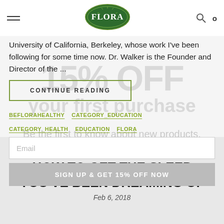[Figure (logo): Flora brand logo — green oval with FLORA text in white serif letters and a sunburst design]
University of California, Berkeley, whose work I've been following for some time now. Dr. Walker is the Founder and Director of the ...
CONTINUE READING
15% OFF
your first purchase
Be the first to know about new products, exclusive offers.
BEFLORAHEALTHY
CATEGORY_EDUCATION
CATEGORY_HEALTH
EDUCATION
FLORA
Email
SIGN UP & GET 15% OFF NOW
HOW TO GET THE SLEEP YOU'VE BEEN DREAMING OF
Feb 6, 2018